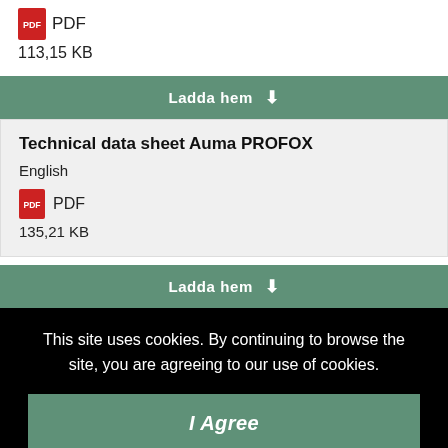[Figure (logo): PDF file icon with red background]
PDF
113,15 KB
Ladda hem
Technical data sheet Auma PROFOX
English
[Figure (logo): PDF file icon with red background]
PDF
135,21 KB
Ladda hem
This site uses cookies. By continuing to browse the site, you are agreeing to our use of cookies.
I Agree